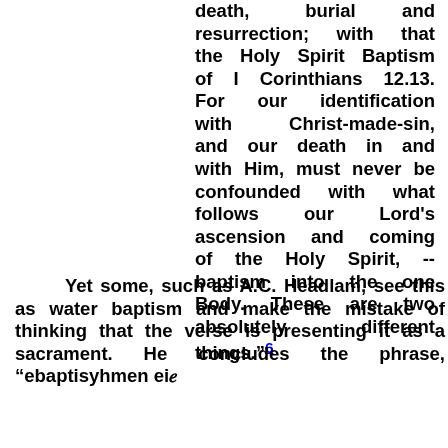death, burial and resurrection; with that the Holy Spirit Baptism of I Corinthians 12.13. For our identification with Christ-made-sin, and our death in and with Him, must never be confounded with what follows our Lord's ascension and coming of the Holy Spirit, -- baptism into the one Body. These are two absolutely different things."6
Yet some, such as A.C. Headlam, see this as water baptism and make the mistake of thinking that the verse is presenting it as a sacrament. He concludes the phrase, "ebaptisyhmen eix